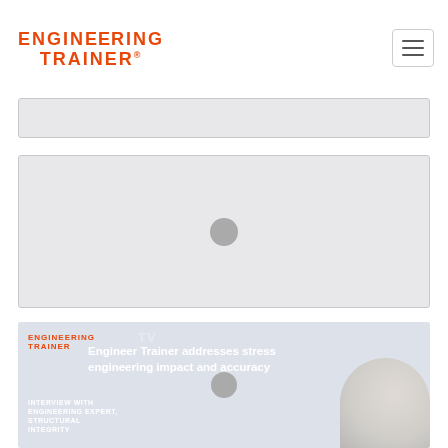[Figure (logo): Engineering Trainer logo in orange uppercase text, two lines]
[Figure (other): Hamburger menu button, top right corner]
[Figure (other): Gray banner / search bar placeholder]
[Figure (other): Gray video placeholder with centered gray circle (play button)]
[Figure (other): Video thumbnail with Engineering Trainer TV branding, text: 'Engineer Trainer addresses stress engineering impact and accuracy', subtitle: 'Interview with Engineering Expert, Structural Integrity', centered gray play circle, partial face image at right]